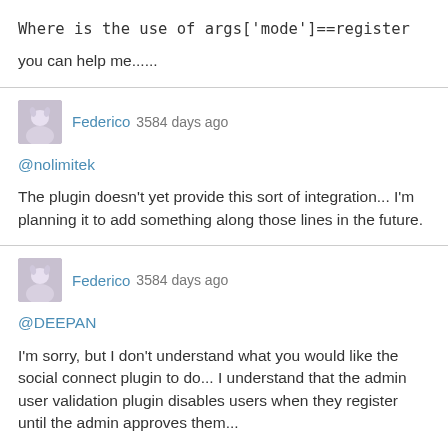Where is the use of args['mode']==register

you can help me......
Federico 3584 days ago

@nolimitek

The plugin doesn't yet provide this sort of integration... I'm planning it to add something along those lines in the future.
Federico 3584 days ago

@DEEPAN

I'm sorry, but I don't understand what you would like the social connect plugin to do... I understand that the admin user validation plugin disables users when they register until the admin approves them...